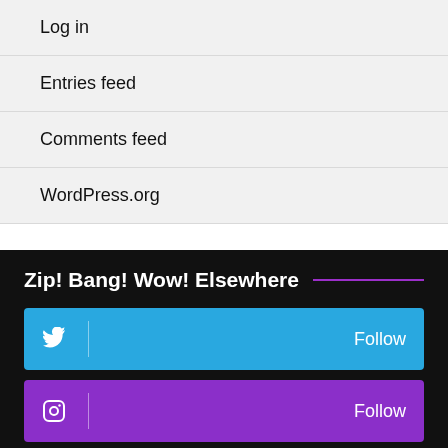Log in
Entries feed
Comments feed
WordPress.org
Zip! Bang! Wow! Elsewhere
Twitter Follow
Instagram Follow
LinkedIn Connect